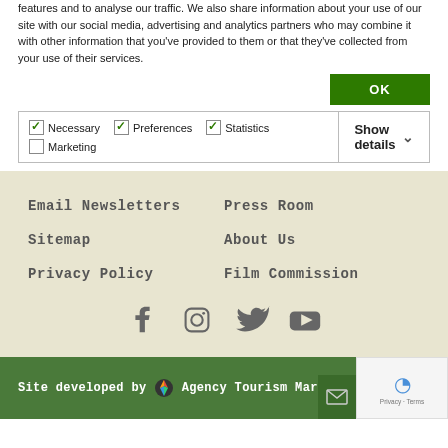features and to analyse our traffic. We also share information about your use of our site with our social media, advertising and analytics partners who may combine it with other information that you've provided to them or that they've collected from your use of their services.
OK
Necessary  Preferences  Statistics  Marketing  Show details
Email Newsletters
Press Room
Sitemap
About Us
Privacy Policy
Film Commission
[Figure (other): Social media icons: Facebook, Instagram, Twitter, YouTube]
Site developed by Agency Tourism Marketing